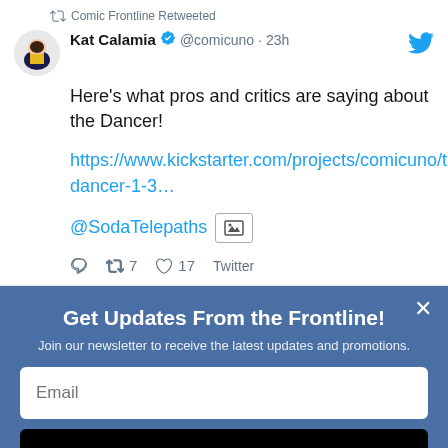Comic Frontline Retweeted
Kat Calamia @comicuno · 23h
Here's what pros and critics are saying about the Dancer!

https://www.kickstarter.com/projects/comicuno/the-dancer-1-3…

@SodaTelepaths
7  17  Twitter